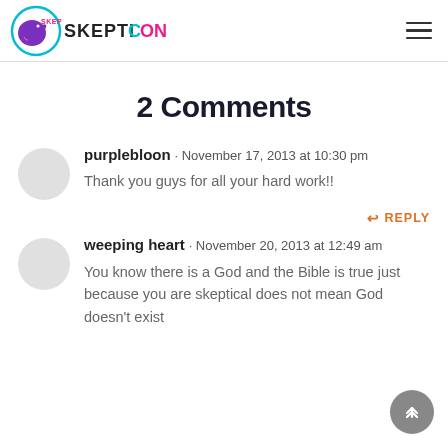[Figure (logo): Skepticon logo with dinosaur in blue circle and SKEPTICON text in pink/blue]
2 Comments
purplebloon · November 17, 2013 at 10:30 pm
Thank you guys for all your hard work!!
weeping heart · November 20, 2013 at 12:49 am
You know there is a God and the Bible is true just because you are skeptical does not mean God doesn't exist